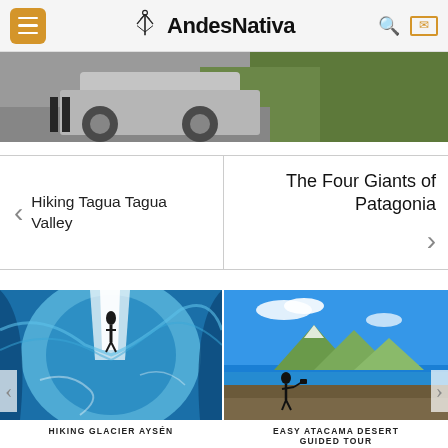AndesNativa
[Figure (photo): Partial view of a vehicle and greenery in background, hero banner image]
< Hiking Tagua Tagua Valley
The Four Giants of Patagonia >
[Figure (photo): Person standing inside a blue glacier ice cave, Hiking Glacier Aysén]
HIKING GLACIER AYSÉN
[Figure (photo): Silhouette of person photographing mountains and lake in Atacama desert with blue sky]
EASY ATACAMA DESERT GUIDED TOUR